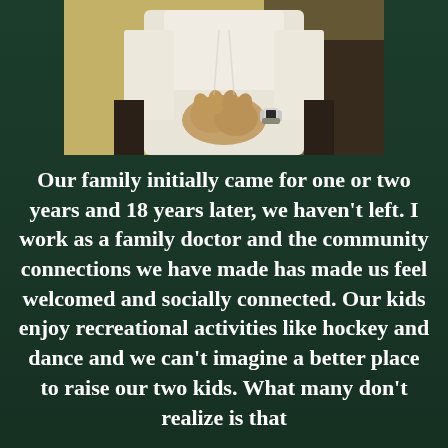[Figure (photo): A person sitting with hands clasped together, wearing a white dress shirt and a watch, seated in a dark chair, photographed from chest down against a light yellowish background.]
Our family initially came for one or two years and 18 years later, we haven't left. I work as a family doctor and the community connections we have made has made us feel welcomed and socially connected. Our kids enjoy recreational activities like hockey and dance and we can't imagine a better place to raise our two kids. What many don't realize is that